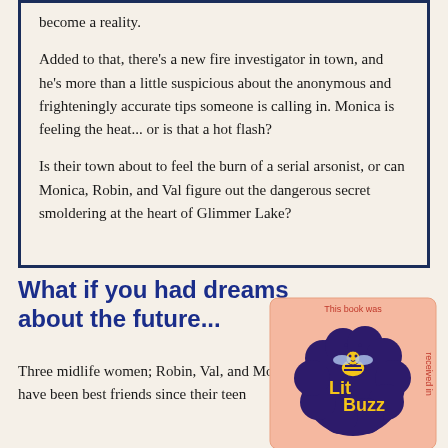become a reality.

Added to that, there's a new fire investigator in town, and he's more than a little suspicious about the anonymous and frighteningly accurate tips someone is calling in. Monica is feeling the heat... or is that a hot flash?

Is their town about to feel the burn of a serial arsonist, or can Monica, Robin, and Val figure out the dangerous secret smoldering at the heart of Glimmer Lake?
What if you had dreams about the future...
Three midlife women; Robin, Val, and Monica, have been best friends since their teen
[Figure (logo): Lit Buzz badge/logo - circular dark purple badge with a bee illustration, orange text 'Lit Buzz' in center, pink background with text 'This book was received in honest review.' around the outer edge]